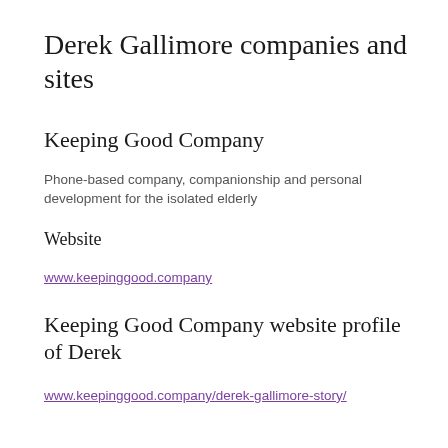Derek Gallimore companies and sites
Keeping Good Company
Phone-based company, companionship and personal development for the isolated elderly
Website
www.keepinggood.company
Keeping Good Company website profile of Derek
www.keepinggood.company/derek-gallimore-story/